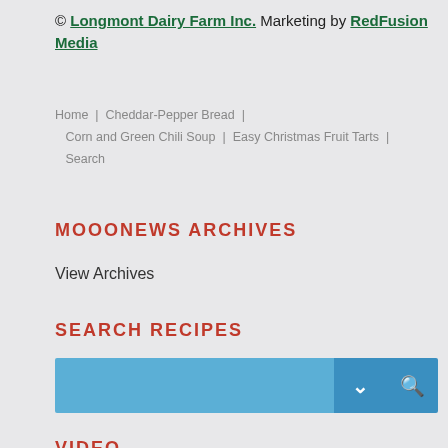© Longmont Dairy Farm Inc. Marketing by RedFusion Media
Home | Cheddar-Pepper Bread | Corn and Green Chili Soup | Easy Christmas Fruit Tarts | Search
MOOONEWS ARCHIVES
View Archives
SEARCH RECIPES
[Figure (screenshot): Search bar with blue background, dropdown chevron button and search magnifying glass button]
VIDEO
[Figure (screenshot): YouTube video thumbnail showing 'Whipping Cream Rec...' with Longmont Dairy Farm logo circle and three-dots menu, dark video preview area below]